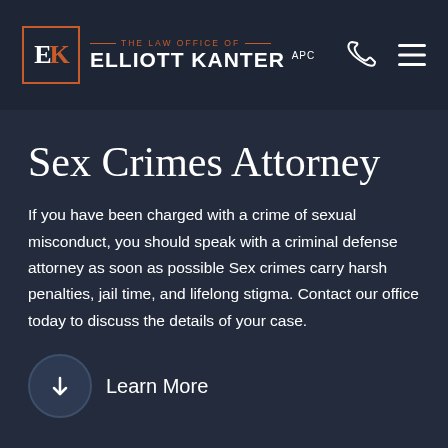The Law Office of Elliott Kanter APC
Sex Crimes Attorney
If you have been charged with a crime of sexual misconduct, you should speak with a criminal defense attorney as soon as possible Sex crimes carry harsh penalties, jail time, and lifelong stigma. Contact our office today to discuss the details of your case.
Learn More